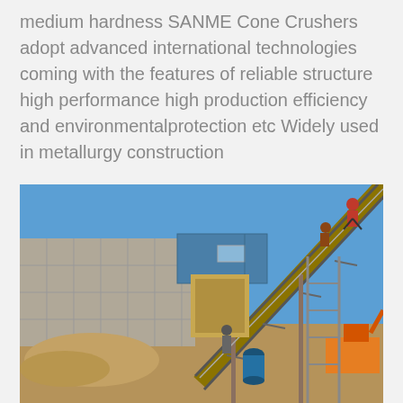medium hardness SANME Cone Crushers adopt advanced international technologies coming with the features of reliable structure high performance high production efficiency and environmentalprotection etc Widely used in metallurgy construction
[Figure (photo): Outdoor industrial construction site showing concrete walls, a conveyor belt ramp with workers on it, heavy machinery including an excavator, blue shipping container building, and sandy ground with blue sky in background.]